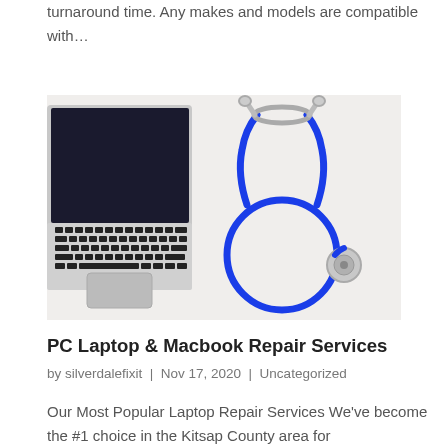turnaround time. Any makes and models are compatible with…
[Figure (photo): A laptop keyboard on the left and a blue stethoscope arranged in a loop on a white background on the right.]
PC Laptop & Macbook Repair Services
by silverdalefixit | Nov 17, 2020 | Uncategorized
Our Most Popular Laptop Repair Services We've become the #1 choice in the Kitsap County area for